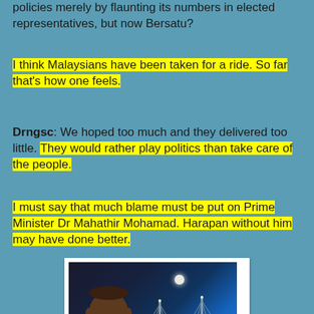policies merely by flaunting its numbers in elected representatives, but now Bersatu?
I think Malaysians have been taken for a ride. So far that's how one feels.
Drngsc: We hoped too much and they delivered too little. They would rather play politics than take care of the people.
I must say that much blame must be put on Prime Minister Dr Mahathir Mohamad. Harapan without him may have done better.
[Figure (photo): Photo of an elderly Malaysian man (Dr Mahathir Mohamad) with glasses, in front of a blue background showing a bridge and moon at night]